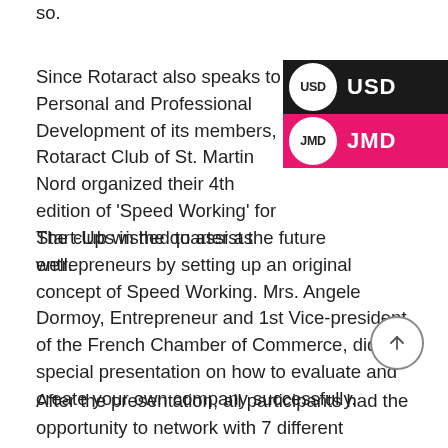so.
Since Rotaract also speaks to Personal and Professional Development of its members, Rotaract Club of St. Martin Nord organized their 4th edition of 'Speed Working' for Start-Ups in the quarter as well.
The club wished to assist the future entrepreneurs by setting up an original concept of Speed Working. Mrs. Angele Dormoy, Entrepreneur and 1st Vice-president of the French Chamber of Commerce, did a special presentation on how to evaluate and create your own company successfully.
After the presentation, all participants had the opportunity to network with 7 different professionals during the speed-coaching mentoring part of the program.